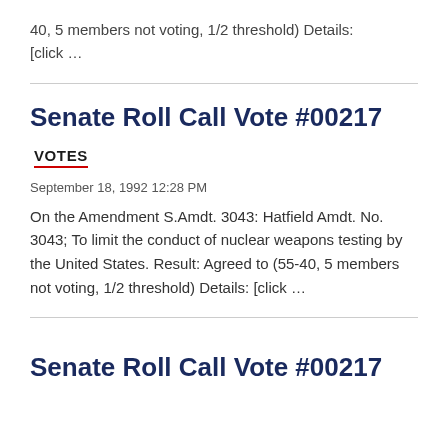40, 5 members not voting, 1/2 threshold) Details: [click …
Senate Roll Call Vote #00217
VOTES
September 18, 1992 12:28 PM
On the Amendment S.Amdt. 3043: Hatfield Amdt. No. 3043; To limit the conduct of nuclear weapons testing by the United States. Result: Agreed to (55-40, 5 members not voting, 1/2 threshold) Details: [click …
Senate Roll Call Vote #00217